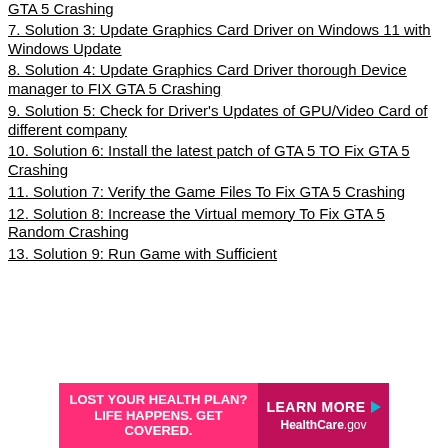GTA 5 Crashing
7. Solution 3: Update Graphics Card Driver on Windows 11 with Windows Update
8. Solution 4: Update Graphics Card Driver thorough Device manager to FIX GTA 5 Crashing
9. Solution 5: Check for Driver's Updates of GPU/Video Card of different company
10. Solution 6: Install the latest patch of GTA 5 TO Fix GTA 5 Crashing
11. Solution 7: Verify the Game Files To Fix GTA 5 Crashing
12. Solution 8: Increase the Virtual memory To Fix GTA 5 Random Crashing
13. Solution 9: Run Game with Sufficient
[Figure (infographic): Advertisement banner for HealthCare.gov: pink background left side reading 'LOST YOUR HEALTH PLAN? LIFE HAPPENS. GET COVERED.' and dark pink right side reading 'LEARN MORE HealthCare.gov']